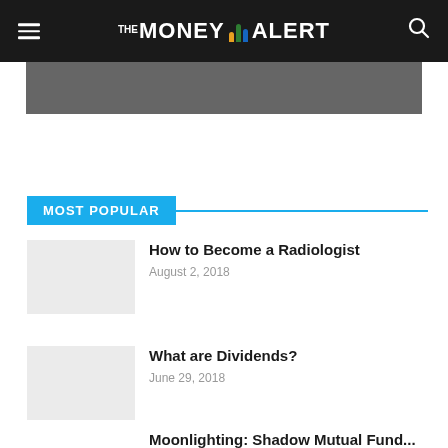THE MONEY ALERT
MOST POPULAR
How to Become a Radiologist — August 2, 2018
What are Dividends? — June 29, 2018
Moonlighting: Shadow Mutual Fund...